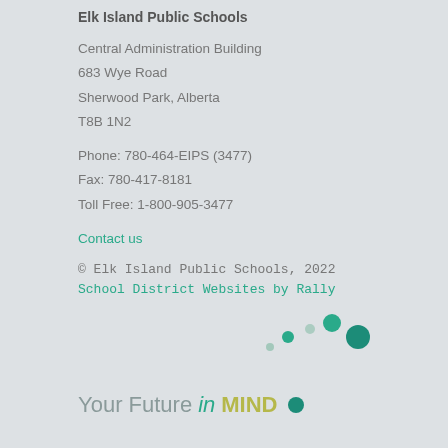Elk Island Public Schools
Central Administration Building
683 Wye Road
Sherwood Park, Alberta
T8B 1N2
Phone: 780-464-EIPS (3477)
Fax: 780-417-8181
Toll Free: 1-800-905-3477
Contact us
© Elk Island Public Schools, 2022
School District Websites by Rally
[Figure (logo): Your Future in MIND logo with decorative dots in teal and olive colors]